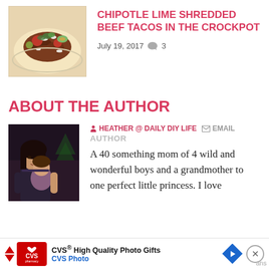[Figure (photo): Photo of a plate of tacos with toppings including cheese, avocado, and cilantro on a tortilla]
CHIPOTLE LIME SHREDDED BEEF TACOS IN THE CROCKPOT
July 19, 2017  💬 3
ABOUT THE AUTHOR
[Figure (photo): Photo of a woman holding a young child, appears to be indoors]
HEATHER @ DAILY DIY LIFE   ✉ EMAIL AUTHOR
A 40 something mom of 4 wild and wonderful boys and a grandmother to one perfect little princess. I love
[Figure (other): CVS Pharmacy advertisement banner: CVS High Quality Photo Gifts - CVS Photo]